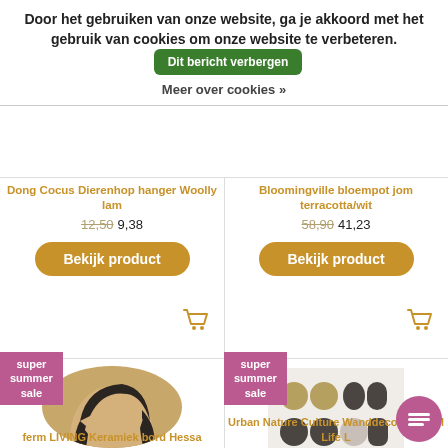Door het gebruiken van onze website, ga je akkoord met het gebruik van cookies om onze website te verbeteren. Dit bericht verbergen
Meer over cookies »
Dong Cocus Dierenhop hanger Woolly lam
12,50 9,38
Bekijk product
Bloomingville bloempot jom terracotta/wit
58,90 41,23
Bekijk product
super summer sale
[Figure (photo): Round ceramic plate with abstract face/hair design, ferm LIVING Keramiek bord Hessa]
ferm LIVING Keramiek bord Hessa
super summer sale
[Figure (photo): Urban Nature Culture wall decoration Still Life L, rectangular with abstract geometric shapes in earth tones]
Urban Nature Culture Wanddecoratie Still Life L